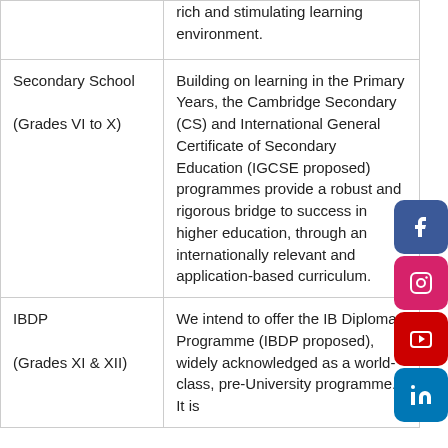|  | rich and stimulating learning environment. |
| Secondary School

(Grades VI to X) | Building on learning in the Primary Years, the Cambridge Secondary (CS) and International General Certificate of Secondary Education (IGCSE proposed) programmes provide a robust and rigorous bridge to success in higher education, through an internationally relevant and application-based curriculum. |
| IBDP

(Grades XI & XII) | We intend to offer the IB Diploma Programme (IBDP proposed), widely acknowledged as a world-class, pre-University programme. It is |